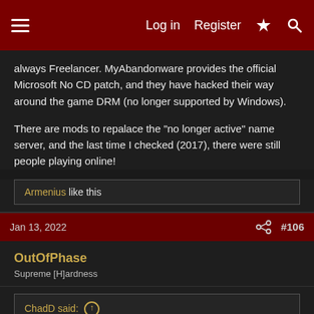Log in  Register  [lightning icon]  [search icon]
always Freelancer. MyAbandonware provides the official Microsoft No CD patch, and they have hacked their way around the game DRM (no longer supported by Windows).
There are mods to repalace the "no longer active" name server, and the last time I checked (2017), there were still people playing online!
Armenius like this
Jan 13, 2022  #106
OutOfPhase
Supreme [H]ardness
ChadD said: ↑
I would say almost all the other ultima games are over rated...
They just keep on right this